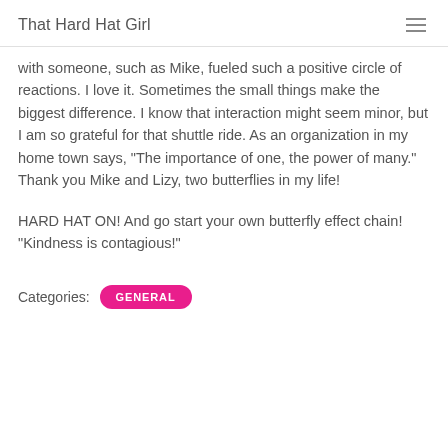That Hard Hat Girl
with someone, such as Mike, fueled such a positive circle of reactions. I love it. Sometimes the small things make the biggest difference. I know that interaction might seem minor, but I am so grateful for that shuttle ride. As an organization in my home town says, "The importance of one, the power of many." Thank you Mike and Lizy, two butterflies in my life!
HARD HAT ON! And go start your own butterfly effect chain! "Kindness is contagious!"
Categories: GENERAL